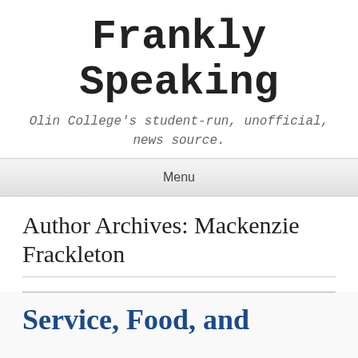Frankly Speaking
Olin College's student-run, unofficial, news source.
Menu
Author Archives: Mackenzie Frackleton
Service, Food, and